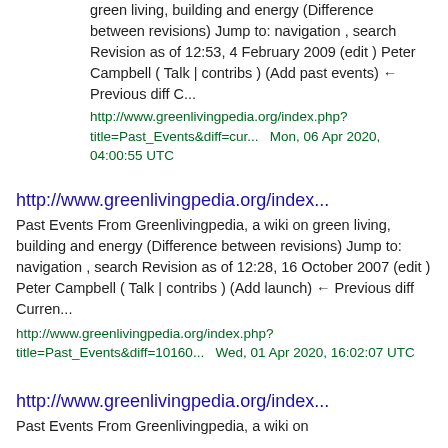green living, building and energy (Difference between revisions) Jump to: navigation , search Revision as of 12:53, 4 February 2009 (edit ) Peter Campbell ( Talk | contribs ) (Add past events) ← Previous diff C...
http://www.greenlivingpedia.org/index.php?title=Past_Events&diff=cur...  Mon, 06 Apr 2020, 04:00:55 UTC
http://www.greenlivingpedia.org/index...
Past Events From Greenlivingpedia, a wiki on green living, building and energy (Difference between revisions) Jump to: navigation , search Revision as of 12:28, 16 October 2007 (edit ) Peter Campbell ( Talk | contribs ) (Add launch) ← Previous diff Curren...
http://www.greenlivingpedia.org/index.php?title=Past_Events&diff=10160...  Wed, 01 Apr 2020, 16:02:07 UTC
http://www.greenlivingpedia.org/index...
Past Events From Greenlivingpedia, a wiki on